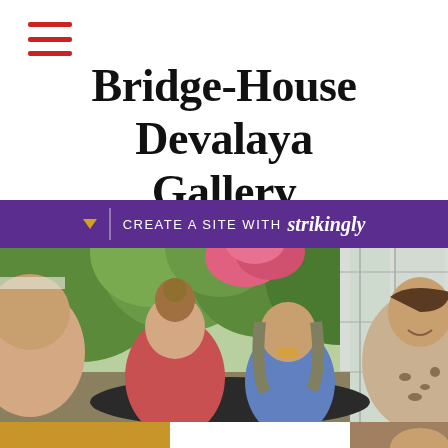≡
Bridge-House Devalaya Gallery
[Figure (photo): Group of people sitting around an outdoor table eating and drinking, with green trees and pink flowering bushes in the background, next to a glass building facade. Partially visible second photo below.]
CREATE A SITE WITH strikingly